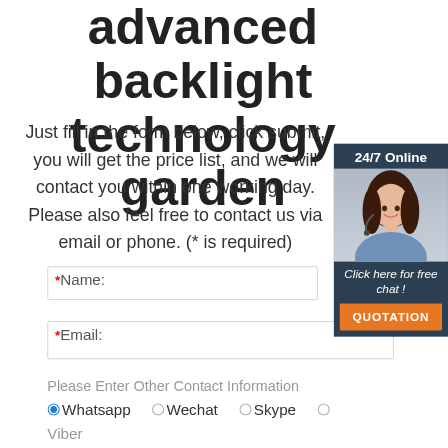advanced backlight technology garden
Just fill in the form below, click submit, you will get the price list, and we will contact you within one working day. Please also feel free to contact us via email or phone. (* is required)
[Figure (other): 24/7 Online chat widget with agent photo, 'Click here for free chat!' text, and orange QUOTATION button]
* Name:
* Email:
Please Enter Other Contact Information
Whatsapp  Wechat  Skype
Viber